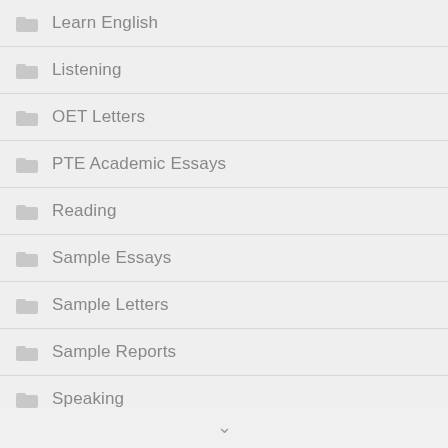Learn English
Listening
OET Letters
PTE Academic Essays
Reading
Sample Essays
Sample Letters
Sample Reports
Speaking